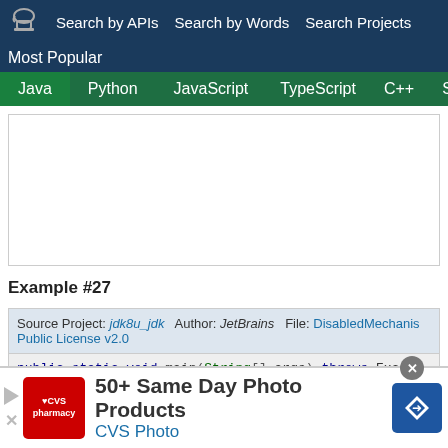Search by APIs   Search by Words   Search Projects   Most Popular
[Figure (screenshot): Language tab bar with Java (active), Python, JavaScript, TypeScript, C++, Scala tabs on green background]
[Figure (screenshot): White empty search/code input area with border]
Example #27
Source Project: jdk8u_jdk  Author: JetBrains  File: DisabledMechanism  Public License v2.0
public static void main(String[] args) throws Except
[Figure (screenshot): CVS Pharmacy advertisement banner: 50+ Same Day Photo Products, CVS Photo]